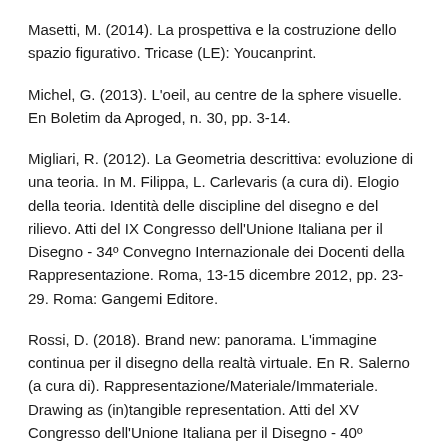Masetti, M. (2014). La prospettiva e la costruzione dello spazio figurativo. Tricase (LE): Youcanprint.
Michel, G. (2013). L'oeil, au centre de la sphere visuelle. En Boletim da Aproged, n. 30, pp. 3-14.
Migliari, R. (2012). La Geometria descrittiva: evoluzione di una teoria. In M. Filippa, L. Carlevaris (a cura di). Elogio della teoria. Identità delle discipline del disegno e del rilievo. Atti del IX Congresso dell'Unione Italiana per il Disegno - 34º Convegno Internazionale dei Docenti della Rappresentazione. Roma, 13-15 dicembre 2012, pp. 23-29. Roma: Gangemi Editore.
Rossi, D. (2018). Brand new: panorama. L'immagine continua per il disegno della realtà virtuale. En R. Salerno (a cura di). Rappresentazione/Materiale/Immateriale. Drawing as (in)tangible representation. Atti del XV Congresso dell'Unione Italiana per il Disegno - 40º Convegno Internazionale dei Docenti della